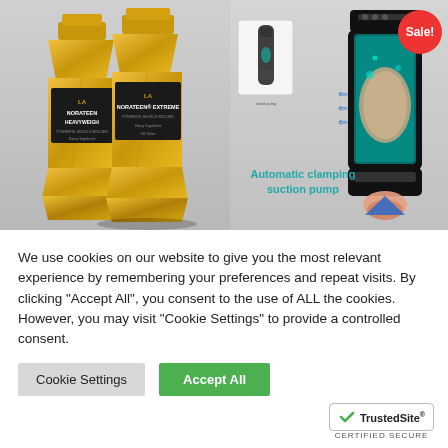[Figure (photo): Two gold faceted bottles of LA Norateen Heavyweight and Norateen Extreme muscle supplements on left side. On right side, images of an automatic clamping suction pump device with a red Sale! badge and teal/black cylinder shown with arrows, plus text 'Automatic clamping suction pump' in teal.]
We use cookies on our website to give you the most relevant experience by remembering your preferences and repeat visits. By clicking "Accept All", you consent to the use of ALL the cookies. However, you may visit "Cookie Settings" to provide a controlled consent.
Cookie Settings
Accept All
[Figure (logo): TrustedSite CERTIFIED SECURE badge with checkmark]